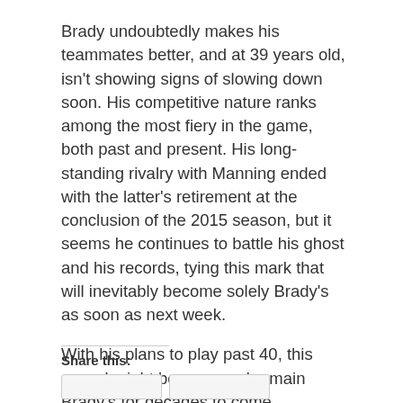Brady undoubtedly makes his teammates better, and at 39 years old, isn't showing signs of slowing down soon. His competitive nature ranks among the most fiery in the game, both past and present. His long-standing rivalry with Manning ended with the latter's retirement at the conclusion of the 2015 season, but it seems he continues to battle his ghost and his records, tying this mark that will inevitably become solely Brady's as soon as next week.
With his plans to play past 40, this record might become and remain Brady's for decades to come.
Share this: